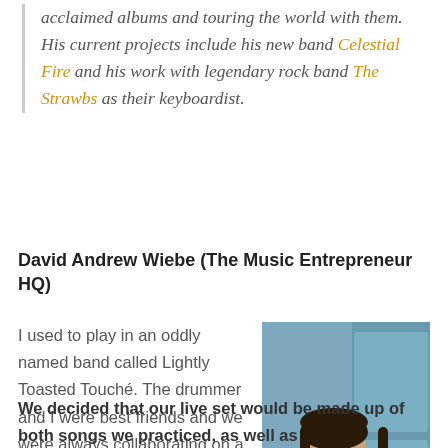acclaimed albums and touring the world with them. His current projects include his new band Celestial Fire and his work with legendary rock band The Strawbs as their keyboardist.
David Andrew Wiebe (The Music Entrepreneur HQ)
I used to play in an oddly named band called Lightly Toasted Touché. The drummer and I were best friends and we were always collaborating on a lot of projects. So, when we decided to start a band, we were already thinking about what our unique value proposition would be.
[Figure (photo): Portrait photo of David Andrew Wiebe, a young man with dark hair and glasses wearing a black jacket and purple shirt, photographed against a blue door background.]
We decided that our live set would be made up of both songs we practiced, as well as